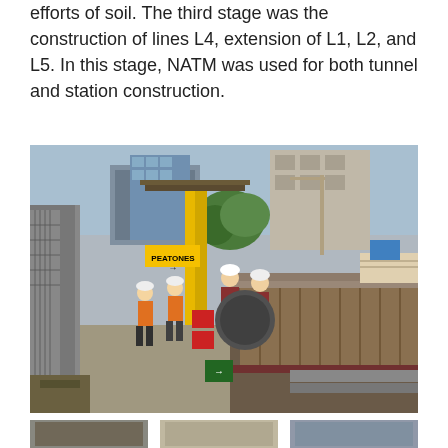efforts of soil. The third stage was the construction of lines L4, extension of L1, L2, and L5. In this stage, NATM was used for both tunnel and station construction.
[Figure (photo): Construction site photograph showing workers in orange hi-vis vests and hard hats working in an open-cut excavation in an urban area. A yellow steel structure is visible with a 'PEATONES' sign. Buildings and cranes are visible in the background. Workers are seen near the entrance to a tunnel or subway station under construction.]
[Figure (photo): Partial view of additional construction site photos at the bottom of the page, cropped.]